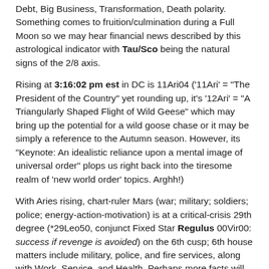Debt, Big Business, Transformation, Death polarity. Something comes to fruition/culmination during a Full Moon so we may hear financial news described by this astrological indicator with Tau/Sco being the natural signs of the 2/8 axis.
Rising at 3:16:02 pm est in DC is 11Ari04 ('11Ari' = "The President of the Country" yet rounding up, it's '12Ari' = "A Triangularly Shaped Flight of Wild Geese" which may bring up the potential for a wild goose chase or it may be simply a reference to the Autumn season. However, its "Keynote: An idealistic reliance upon a mental image of universal order" plops us right back into the tiresome realm of 'new world order' topics. Arghh!)
With Aries rising, chart-ruler Mars (war; military; soldiers; police; energy-action-motivation) is at a critical-crisis 29th degree (*29Leo50, conjunct Fixed Star Regulus 00Vir00: success if revenge is avoided) on the 6th cusp; 6th house matters include military, police, and fire services, along with Work, Service, and Health. Perhaps more facts will be revealed (Full Moon) in the Air Force body parts scandal--